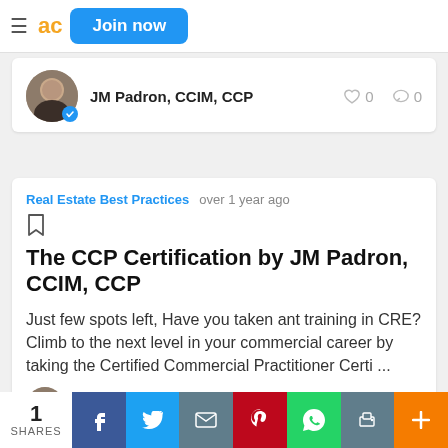≡ ad  Join now
JM Padron, CCIM, CCP
♡ 0   ◯ 0
Real Estate Best Practices   over 1 year ago
The CCP Certification by JM Padron, CCIM, CCP
Just few spots left, Have you taken ant training in CRE? Climb to the next level in your commercial career by taking the Certified Commercial Practitioner Certi ...
1 SHARES  f  t  envelope  P  WhatsApp  print  +